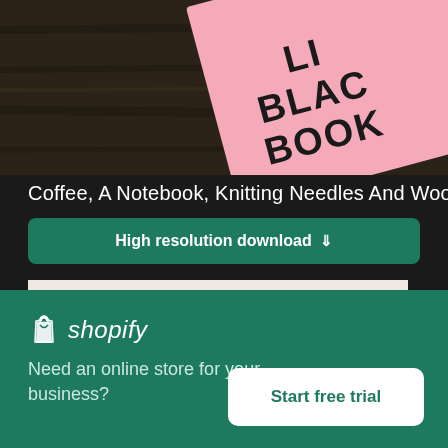[Figure (photo): Top portion of photo showing a pink book with text 'LITTLE BLACK BOOK' on a dark wood background]
Coffee, A Notebook, Knitting Needles And Wool
High resolution download ↓
[Figure (photo): Photo of assorted autumn vegetables including gourds, corn, and squash on a white surface]
×
[Figure (logo): Shopify logo with bag icon]
Need an online store for your business?
Start free trial